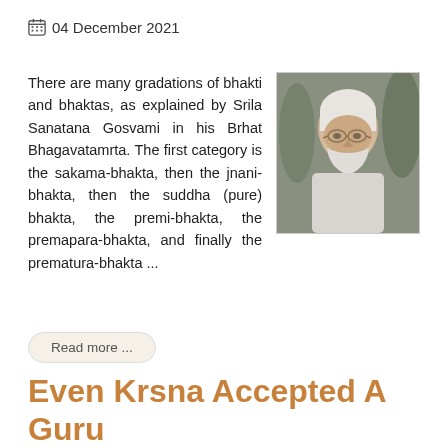04 December 2021
There are many gradations of bhakti and bhaktas, as explained by Srila Sanatana Gosvami in his Brhat Bhagavatamrta. The first category is the sakama-bhakta, then the jnani-bhakta, then the suddha (pure) bhakta, the premi-bhakta, the premapara-bhakta, and finally the prematura-bhakta ...
[Figure (photo): Elderly man wearing white head covering and glasses, with white beard, outdoor background]
Read more ...
Even Krsna Accepted A Guru